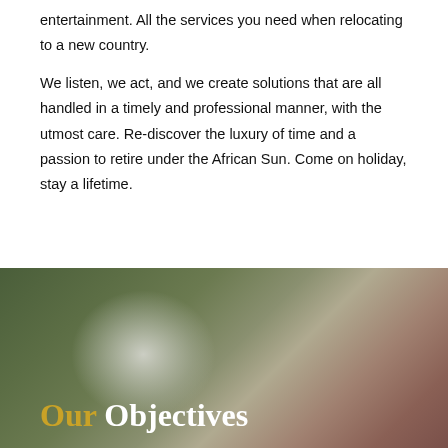entertainment. All the services you need when relocating to a new country.
We listen, we act, and we create solutions that are all handled in a timely and professional manner, with the utmost care. Re-discover the luxury of time and a passion to retire under the African Sun. Come on holiday, stay a lifetime.
[Figure (photo): Blurred bokeh photo background with green, grey, and reddish tones]
Our Objectives